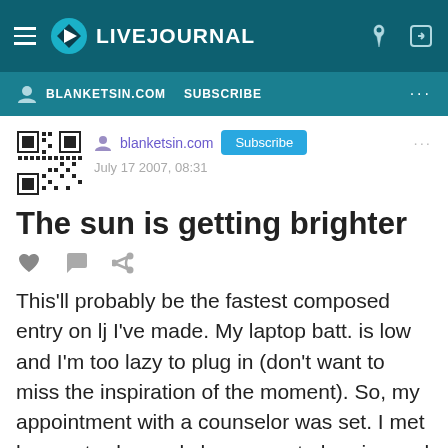LIVEJOURNAL
BLANKETSIN.COM  SUBSCRIBE
[Figure (screenshot): QR code image for blanketsin.com profile]
blanketsin.com  Subscribe  July 17 2007, 08:31
The sun is getting brighter
[Figure (illustration): Heart, comment bubble, and share arrow action icons]
This'll probably be the fastest composed entry on lj I've made. My laptop batt. is low and I'm too lazy to plug in (don't want to miss the inspiration of the moment). So, my appointment with a counselor was set. I met her yesterday and she seems to be nice and professional. The good news is I didn't have a heartattack reliving all those